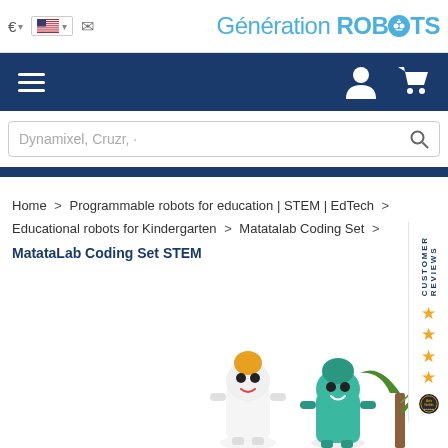€  [US flag]  ✉  Génération ROBOTS
☰  [user icon] [cart icon]
Dynamixel, Cruzr, ...
CUSTOMER REVIEWS ★★★★
Home > Programmable robots for education | STEM | EdTech > Educational robots for Kindergarten > Matatalab Coding Set > MatataLab Coding Set STEM
[Figure (photo): Two small robot figurines — one white/orange and one teal/green — with a plant in the background, partially visible at the bottom of the page.]